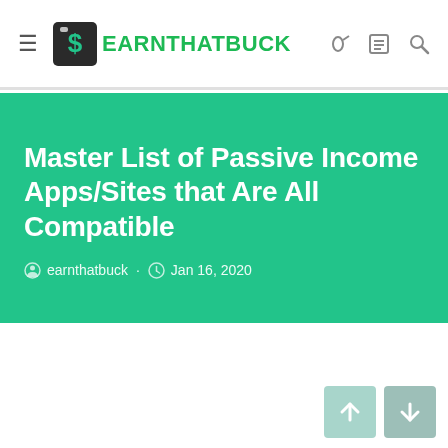EARNTHATBUCK
Master List of Passive Income Apps/Sites that Are All Compatible
earnthatbuck · Jan 16, 2020